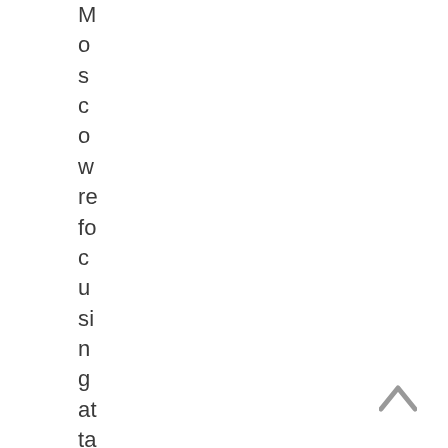Moscow refocusing attacks on his c
[Figure (other): Upward-pointing chevron/caret scroll-to-top arrow icon in gray, positioned bottom-right corner]